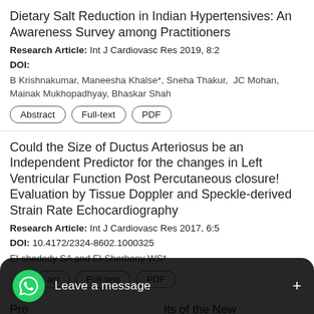Dietary Salt Reduction in Indian Hypertensives: An Awareness Survey among Practitioners
Research Article: Int J Cardiovasc Res 2019, 8:2
DOI:
B Krishnakumar, Maneesha Khalse*, Sneha Thakur, JC Mohan, Mainak Mukhopadhyay, Bhaskar Shah
Abstract | Full-text | PDF
Could the Size of Ductus Arteriosus be an Independent Predictor for the changes in Left Ventricular Function Post Percutaneous closure! Evaluation by Tissue Doppler and Speckle-derived Strain Rate Echocardiography
Research Article: Int J Cardiovasc Res 2017, 6:5
DOI: 10.4172/2324-8602.1000325
El-shedody SA and El-Sherbeny WS*
Abstract | Full-text | PDF
Pro… lts of the New